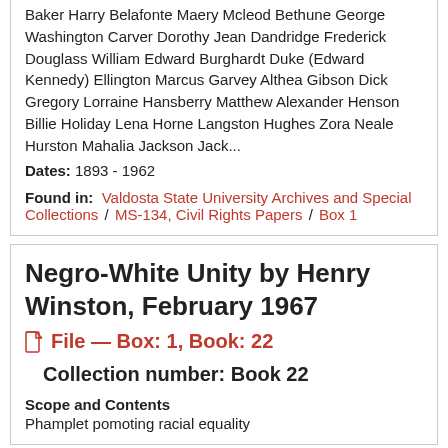Baker Harry Belafonte Maery Mcleod Bethune George Washington Carver Dorothy Jean Dandridge Frederick Douglass William Edward Burghardt Duke (Edward Kennedy) Ellington Marcus Garvey Althea Gibson Dick Gregory Lorraine Hansberry Matthew Alexander Henson Billie Holiday Lena Horne Langston Hughes Zora Neale Hurston Mahalia Jackson Jack...
Dates: 1893 - 1962
Found in: Valdosta State University Archives and Special Collections / MS-134, Civil Rights Papers / Box 1
Negro-White Unity by Henry Winston, February 1967
File — Box: 1, Book: 22
Collection number: Book 22
Scope and Contents
Phamplet pomoting racial equality